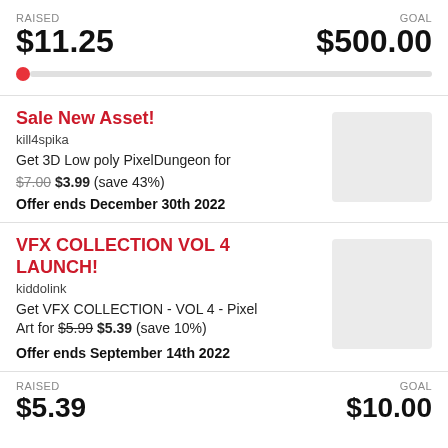RAISED $11.25 | GOAL $500.00
[Figure (infographic): Progress bar showing $11.25 raised of $500.00 goal, with a red dot at the far left and a light gray track to the right.]
Sale New Asset!
kill4spika
Get 3D Low poly PixelDungeon for $7.00 $3.99 (save 43%)

Offer ends December 30th 2022
[Figure (photo): Placeholder thumbnail image (light gray rectangle)]
VFX COLLECTION VOL 4 LAUNCH!
kiddolink
Get VFX COLLECTION - VOL 4 - Pixel Art for $5.99 $5.39 (save 10%)

Offer ends September 14th 2022
[Figure (photo): Placeholder thumbnail image (light gray rectangle)]
RAISED $5.39 | GOAL $10.00